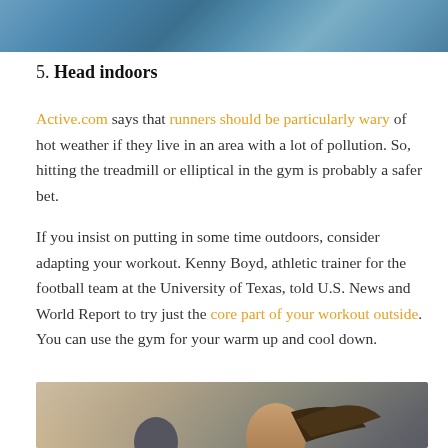[Figure (photo): Top portion of an outdoor or sky photo, showing blue tones, partially cropped at top of page]
5. Head indoors
Active.com says that runners should be particularly wary of hot weather if they live in an area with a lot of pollution. So, hitting the treadmill or elliptical in the gym is probably a safer bet.
If you insist on putting in some time outdoors, consider adapting your workout. Kenny Boyd, athletic trainer for the football team at the University of Texas, told U.S. News and World Report to try just the core part of your workout outside. You can use the gym for your warm up and cool down.
[Figure (photo): Photo of a woman with ponytail running on a treadmill in a gym, with a man visible in the background also on a treadmill]